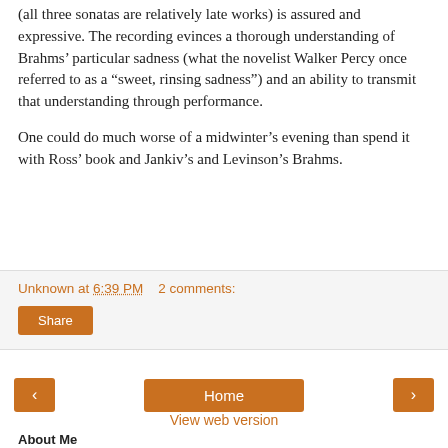(all three sonatas are relatively late works) is assured and expressive. The recording evinces a thorough understanding of Brahms' particular sadness (what the novelist Walker Percy once referred to as a “sweet, rinsing sadness”) and an ability to transmit that understanding through performance.
One could do much worse of a midwinter’s evening than spend it with Ross’ book and Jankiv’s and Levinson’s Brahms.
Unknown at 6:39 PM    2 comments:
Share
‹
Home
›
View web version
About Me